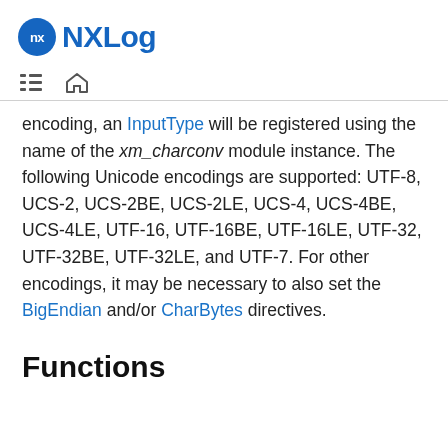NXLog
encoding, an InputType will be registered using the name of the xm_charconv module instance. The following Unicode encodings are supported: UTF-8, UCS-2, UCS-2BE, UCS-2LE, UCS-4, UCS-4BE, UCS-4LE, UTF-16, UTF-16BE, UTF-16LE, UTF-32, UTF-32BE, UTF-32LE, and UTF-7. For other encodings, it may be necessary to also set the BigEndian and/or CharBytes directives.
Functions